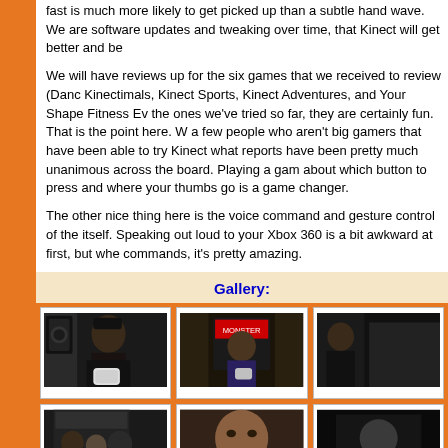fast is much more likely to get picked up than a subtle hand wave. We are software updates and tweaking over time, that Kinect will get better and be
We will have reviews up for the six games that we received to review (Danc Kinectimals, Kinect Sports, Kinect Adventures, and Your Shape Fitness Ev the ones we've tried so far, they are certainly fun. That is the point here. W a few people who aren't big gamers that have been able to try Kinect what reports have been pretty much unanimous across the board. Playing a gam about which button to press and where your thumbs go is a game changer.
The other nice thing here is the voice command and gesture control of the itself. Speaking out loud to your Xbox 360 is a bit awkward at first, but whe commands, it's pretty amazing.
Gallery:
[Figure (photo): Gallery of event photos showing people holding Monster products at what appears to be a promotional event. Two rows of three photos each showing various attendees.]